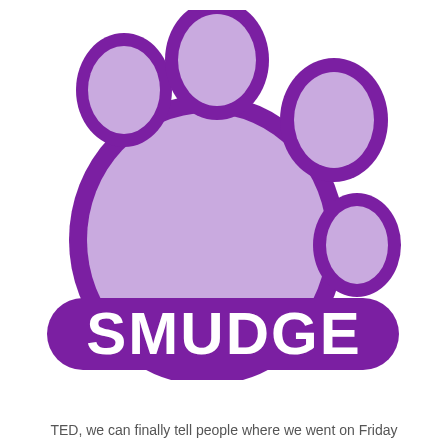[Figure (logo): Purple paw print logo with the text SMUDGE in white bold letters on a purple background at the bottom of the paw print]
TED, we can finally tell people where we went on Friday